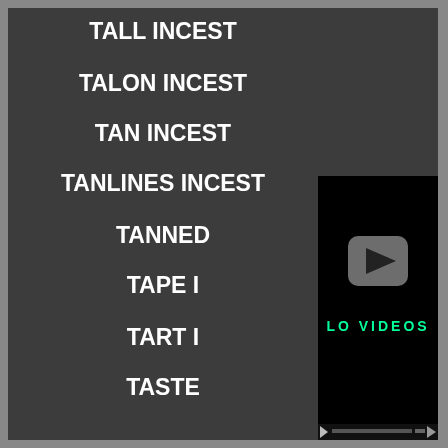TALL INCEST
TALON INCEST
TAN INCEST
TANLINES INCEST
TANNED
TAPE I
TART I
TASTE
[Figure (screenshot): Video player with black background, grey play button in center, text 'LO VIDEOS' below, video progress bar at bottom]